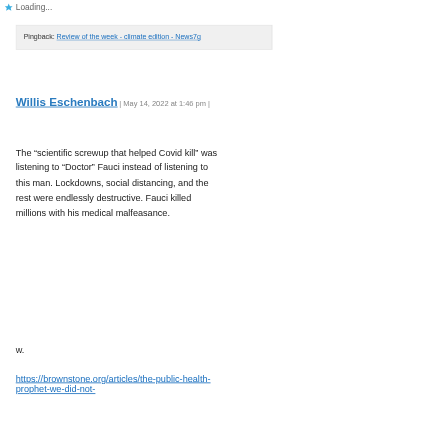Loading...
Pingback: Review of the week - climate edition - News7g
Willis Eschenbach | May 14, 2022 at 1:46 pm |
The “scientific screwup that helped Covid kill” was listening to “Doctor” Fauci instead of listening to this man. Lockdowns, social distancing, and the rest were endlessly destructive. Fauci killed millions with his medical malfeasance.
w.
https://brownstone.org/articles/the-public-health-prophet-we-did-not-